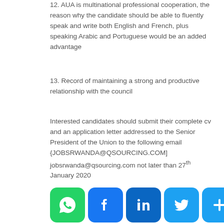12. AUA is multinational professional cooperation, the reason why the candidate should be able to fluently speak and write both English and French, plus speaking Arabic and Portuguese would be an added advantage
13. Record of maintaining a strong and productive relationship with the council
Interested candidates should submit their complete cv and an application letter addressed to the Senior President of the Union to the following email {JOBSRWANDA@QSOURCING.COM] jobsrwanda@qsourcing.com not later than 27th January 2020
[Figure (infographic): Social share buttons: WhatsApp (green), Facebook (blue), LinkedIn (dark blue), Twitter (light blue), More/Plus (light blue)]